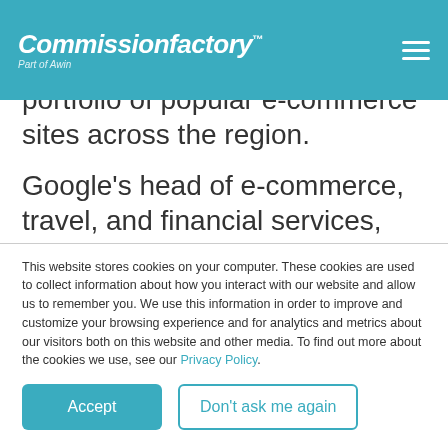Commissionfactory™ Part of Awin
controlling stake in Singapore-based Lazada, which owns a portfolio of popular e-commerce sites across the region.
Google's head of e-commerce, travel, and financial services, Marc Woo has stated that
This website stores cookies on your computer. These cookies are used to collect information about how you interact with our website and allow us to remember you. We use this information in order to improve and customize your browsing experience and for analytics and metrics about our visitors both on this website and other media. To find out more about the cookies we use, see our Privacy Policy.